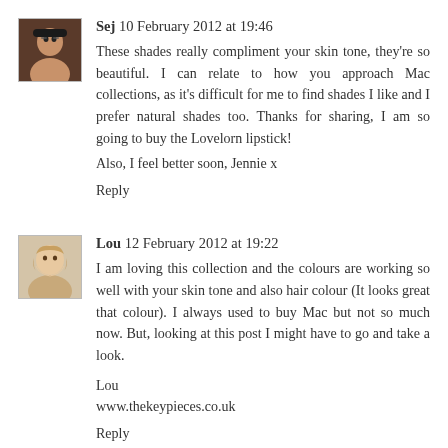[Figure (photo): Avatar photo of commenter Sej, a young woman with glasses]
Sej 10 February 2012 at 19:46
These shades really compliment your skin tone, they're so beautiful. I can relate to how you approach Mac collections, as it's difficult for me to find shades I like and I prefer natural shades too. Thanks for sharing, I am so going to buy the Lovelorn lipstick!
Also, I feel better soon, Jennie x
Reply
[Figure (photo): Avatar photo of commenter Lou, a blonde woman]
Lou 12 February 2012 at 19:22
I am loving this collection and the colours are working so well with your skin tone and also hair colour (It looks great that colour). I always used to buy Mac but not so much now. But, looking at this post I might have to go and take a look.

Lou
www.thekeypieces.co.uk
Reply